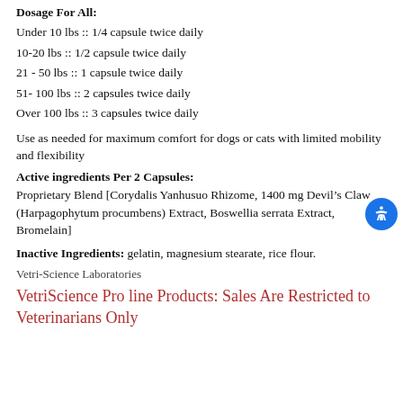Dosage For All:
Under 10 lbs :: 1/4 capsule twice daily
10-20 lbs :: 1/2 capsule twice daily
21 - 50 lbs :: 1 capsule twice daily
51- 100 lbs :: 2 capsules twice daily
Over 100 lbs :: 3 capsules twice daily
Use as needed for maximum comfort for dogs or cats with limited mobility and flexibility
Active ingredients Per 2 Capsules:
Proprietary Blend [Corydalis Yanhusuo Rhizome, 1400 mg Devil’s Claw (Harpagophytum procumbens) Extract, Boswellia serrata Extract, Bromelain]
Inactive Ingredients: gelatin, magnesium stearate, rice flour.
Vetri-Science Laboratories
VetriScience Pro line Products: Sales Are Restricted to Veterinarians Only